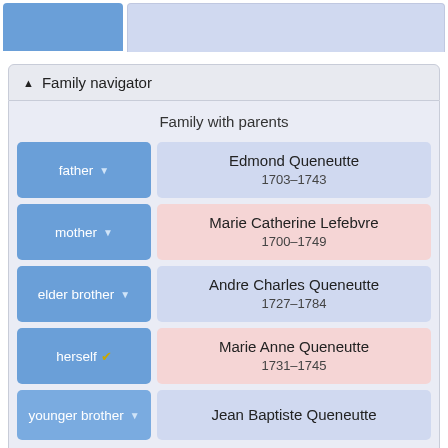[Figure (screenshot): Top navigation bar with blue tab and light blue header area]
Family navigator
Family with parents
| Role | Person | Dates |
| --- | --- | --- |
| father | Edmond Queneutte | 1703–1743 |
| mother | Marie Catherine Lefebvre | 1700–1749 |
| elder brother | Andre Charles Queneutte | 1727–1784 |
| herself | Marie Anne Queneutte | 1731–1745 |
| younger brother | Jean Baptiste Queneutte |  |